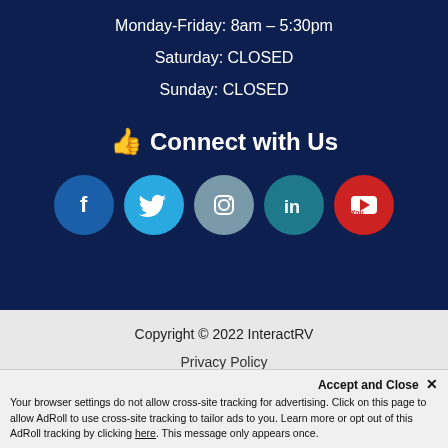Monday-Friday: 8am – 5:30pm
Saturday: CLOSED
Sunday: CLOSED
👍 Connect with Us
[Figure (illustration): Five social media icon circles: Facebook (blue), Twitter (light blue), Instagram (gray-blue), LinkedIn (teal), YouTube (red)]
Copyright © 2022 InteractRV
Privacy Policy
Sold RVs
Accept and Close ✕
Your browser settings do not allow cross-site tracking for advertising. Click on this page to allow AdRoll to use cross-site tracking to tailor ads to you. Learn more or opt out of this AdRoll tracking by clicking here. This message only appears once.